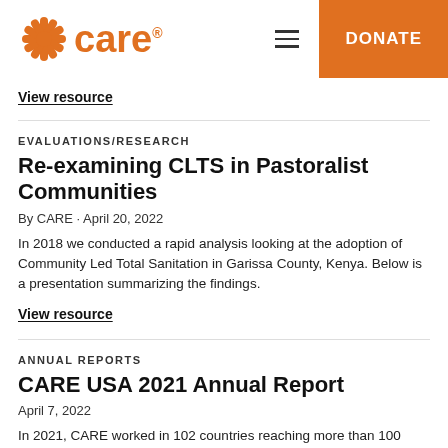CARE — DONATE
View resource
EVALUATIONS/RESEARCH
Re-examining CLTS in Pastoralist Communities
By CARE · April 20, 2022
In 2018 we conducted a rapid analysis looking at the adoption of Community Led Total Sanitation in Garissa County, Kenya. Below is a presentation summarizing the findings.
View resource
ANNUAL REPORTS
CARE USA 2021 Annual Report
April 7, 2022
In 2021, CARE worked in 102 countries reaching more than 100